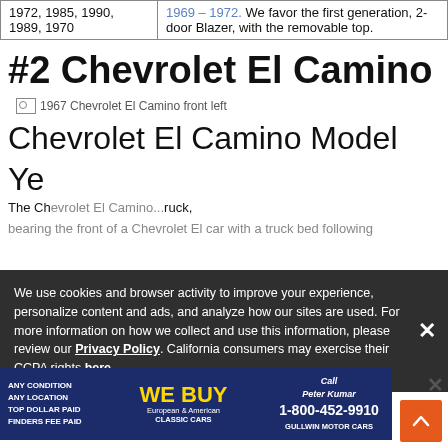| 1972, 1985, 1990, 1989, 1970 | 1969 – 1972. We favor the first generation, 2-door Blazer, with the removable top. |
#2 Chevrolet El Camino
[Figure (photo): 1967 Chevrolet El Camino front left image placeholder]
Chevrolet El Camino Model
Ye...
The Chevrolet El Camino... pickup truck, bearing the front of a Chevrolet Iline car with a truck bed following...
We use cookies and browser activity to improve your experience, personalize content and ads, and analyze how our sites are used. For more information on how we collect and use this information, please review our Privacy Policy. California consumers may exercise their CCPA rights here.